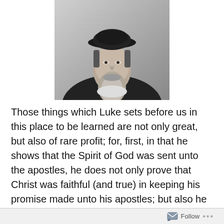[Figure (photo): Black and white engraving portrait of a bearded man wearing a dark hat and cloak, likely a historical religious figure (John Calvin).]
Those things which Luke sets before us in this place to be learned are not only great, but also of rare profit; for, first, in that he shows that the Spirit of God was sent unto the apostles, he does not only prove that Christ was faithful (and true) in keeping his promise made unto his apostles; but also he certifies to us, that he is always mindful of his, and a perpetual governor of his Church, because the Holy Spirit did descend from heaven to this end; whereby we learn that the distance of place does in no way hinder
Follow